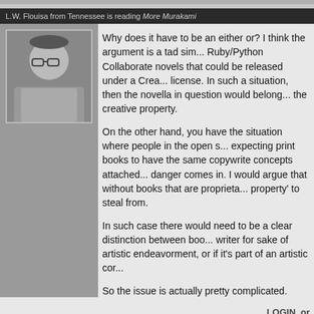L.W. Flouisa from Tennessee is reading More Murakami
[Figure (photo): Avatar photo of L.W. Flouisa, person with glasses]
Why does it have to be an either or? I think the argument is a tad sim... Ruby/Python Collaborate novels that could be released under a Crea... license. In such a situation, then the novella in question would belong... the creative property.

On the other hand, you have the situation where people in the open s... expecting print books to have the same copywrite concepts attached... danger comes in. I would argue that without books that are proprieta... property' to steal from.

In such case there would need to be a clear distinction between boo... writer for sake of artistic endeavorment, or if it's part of an artistic cor...

So the issue is actually pretty complicated.
LOGIN or
edsikov from New York by way of Natrona Hts PA is reading absolutely nothing
[Figure (photo): Avatar photo of edsikov, bald man with mustache]
No, Rob is right: it's piracy.

Speaking - er, writing - as an author who sees his books offered on th... format all the time, I feel cheated.